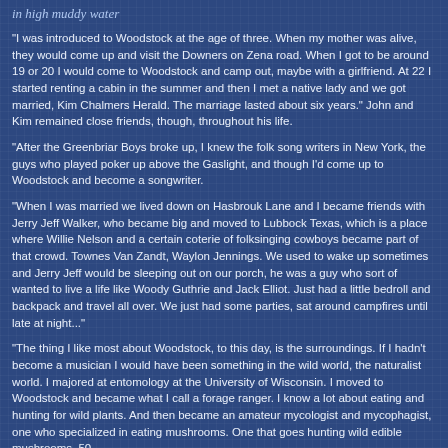in high muddy water
"I was introduced to Woodstock at the age of three. When my mother was alive, they would come up and visit the Downers on Zena road. When I got to be around 19 or 20 I would come to Woodstock and camp out, maybe with a girlfriend. At 22 I started renting a cabin in the summer and then I met a native lady and we got married, Kim Chalmers Herald. The marriage lasted about six years." John and Kim remained close friends, though, throughout his life.
"After the Greenbriar Boys broke up, I knew the folk song writers in New York, the guys who played poker up above the Gaslight, and though I'd come up to Woodstock and become a songwriter.
"When I was married we lived down on Hasbrouk Lane and I became friends with Jerry Jeff Walker, who became big and moved to Lubbock Texas, which is a place where Willie Nelson and a certain coterie of folksinging cowboys became part of that crowd. Townes Van Zandt, Waylon Jennings. We used to wake up sometimes and Jerry Jeff would be sleeping out on our porch, he was a guy who sort of wanted to live a life like Woody Guthrie and Jack Elliot. Just had a little bedroll and backpack and travel all over. We just had some parties, sat around campfires until late at night..."
"The thing I like most about Woodstock, to this day, is the surroundings. If I hadn't become a musician I would have been something in the wild world, the naturalist world. I majored at entomology at the University of Wisconsin. I moved to Woodstock and became what I call a forage ranger. I know a lot about eating and hunting for wild plants. And then became an amateur mycologist and mycophagist, one who specialized in eating mushrooms. One that goes hunting wild edible mushrooms. 50